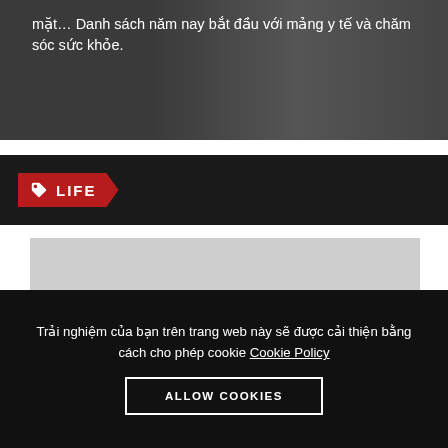[Figure (photo): Dark background image with plants, overlaid with Vietnamese text about healthcare]
mặt… Danh sách năm nay bắt đầu với mảng y tế và chăm sóc sức khỏe.
LIFE
[Figure (photo): Gray image placeholder]
Trải nghiệm của bạn trên trang web này sẽ được cải thiện bằng cách cho phép cookie Cookie Policy
ALLOW COOKIES